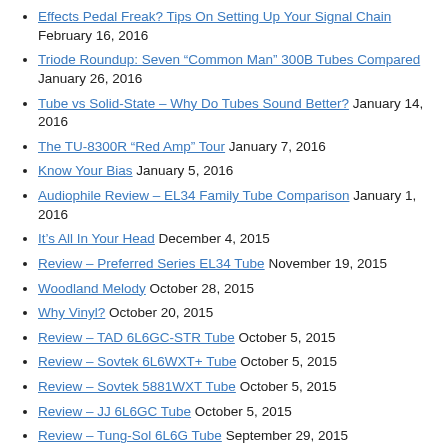Effects Pedal Freak? Tips On Setting Up Your Signal Chain February 16, 2016
Triode Roundup: Seven “Common Man” 300B Tubes Compared January 26, 2016
Tube vs Solid-State – Why Do Tubes Sound Better? January 14, 2016
The TU-8300R “Red Amp” Tour January 7, 2016
Know Your Bias January 5, 2016
Audiophile Review – EL34 Family Tube Comparison January 1, 2016
It’s All In Your Head December 4, 2015
Review – Preferred Series EL34 Tube November 19, 2015
Woodland Melody October 28, 2015
Why Vinyl? October 20, 2015
Review – TAD 6L6GC-STR Tube October 5, 2015
Review – Sovtek 6L6WXT+ Tube October 5, 2015
Review – Sovtek 5881WXT Tube October 5, 2015
Review – JJ 6L6GC Tube October 5, 2015
Review – Tung-Sol 6L6G Tube September 29, 2015
Review – Tung-Sol 6L6GC-STR Tube September 29, 2015
Review – Svetlana 6L6GC Tube September 29, 2015